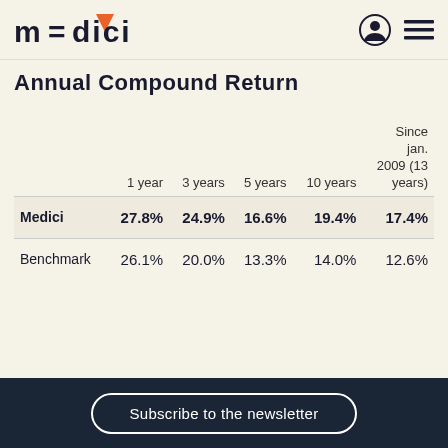Medici
Annual Compound Return
|  | 1 year | 3 years | 5 years | 10 years | Since jan. 2009 (13 years) |
| --- | --- | --- | --- | --- | --- |
| Medici | 27.8% | 24.9% | 16.6% | 19.4% | 17.4% |
| Benchmark | 26.1% | 20.0% | 13.3% | 14.0% | 12.6% |
Subscribe to the newsletter